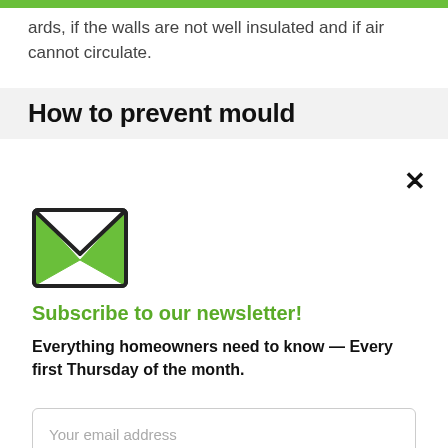ards, if the walls are not well insulated and if air cannot circulate.
How to prevent mould
[Figure (illustration): Green envelope icon representing newsletter subscription]
Subscribe to our newsletter!
Everything homeowners need to know — Every first Thursday of the month.
Your email address
Subscribe now